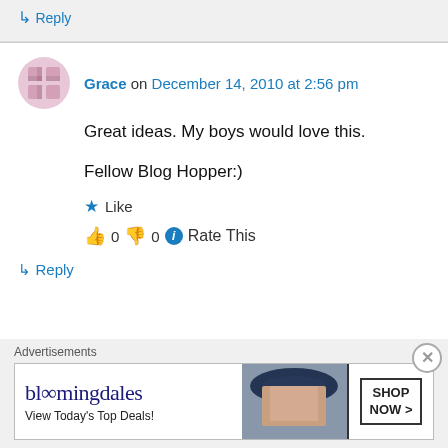↳ Reply
Grace on December 14, 2010 at 2:56 pm
Great ideas. My boys would love this.

Fellow Blog Hopper:)
★ Like
👍 0 👎 0 ℹ Rate This
↳ Reply
Advertisements
[Figure (other): Bloomingdales advertisement banner with text 'View Today's Top Deals!' and 'SHOP NOW >']